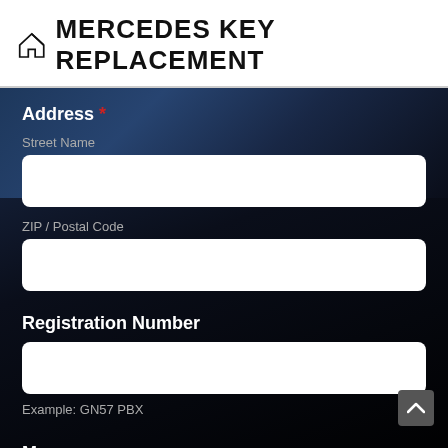MERCEDES KEY REPLACEMENT
Address *
Street Name
ZIP / Postal Code
Registration Number
Example: GN57 PBX
Mesage: